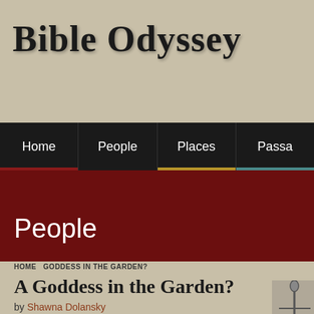BIBLE ODYSSEY
Home | People | Places | Passages
People
HOME  GODDESS IN THE GARDEN?
A Goddess in the Garden?
by Shawna Dolansky
Once upon a time, there was a talking snake who revealed the secret of a magic tree to a woman named Life.
There are a lot of other ways a creation story could go, but there you have it. A wily, chatty serpent; two magical trees; a man; and a woman, formed out of the first person's side because no suitable companion was found among the other animals.